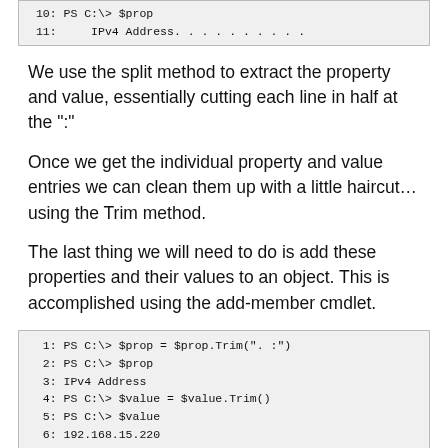[Figure (screenshot): Code block showing lines 10-11 of PowerShell session: line 10 'PS C:\> $prop', line 11 '    IPv4 Address. . . . . . . . . .']
We use the split method to extract the property and value, essentially cutting each line in half at the ":"
Once we get the individual property and value entries we can clean them up with a little haircut… using the Trim method.
The last thing we will need to do is add these properties and their values to an object. This is accomplished using the add-member cmdlet.
[Figure (screenshot): Code block showing lines 1-9 of PowerShell session demonstrating Trim and Add-Member cmdlet usage]